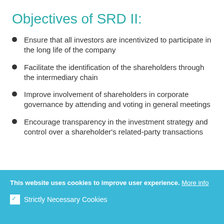Objectives of SRD II:
Ensure that all investors are incentivized to participate in the long life of the company
Facilitate the identification of the shareholders through the intermediary chain
Improve involvement of shareholders in corporate governance by attending and voting in general meetings
Encourage transparency in the investment strategy and control over a shareholder's related-party transactions
This website uses cookies to improve user experience. More info
☑ Strictly Necessary Cookies